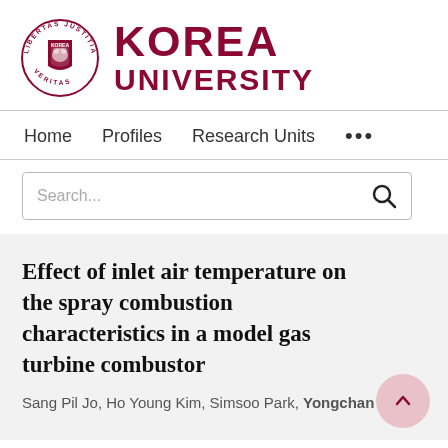[Figure (logo): Korea University logo: circular seal with text LIBERTAS JUSTITIA VERITAS around it, and bold dark red text KOREA UNIVERSITY to the right]
Home   Profiles   Research Units   ...
Search...
Effect of inlet air temperature on the spray combustion characteristics in a model gas turbine combustor
Sang Pil Jo, Ho Young Kim, Simsoo Park, Yongchan Kim